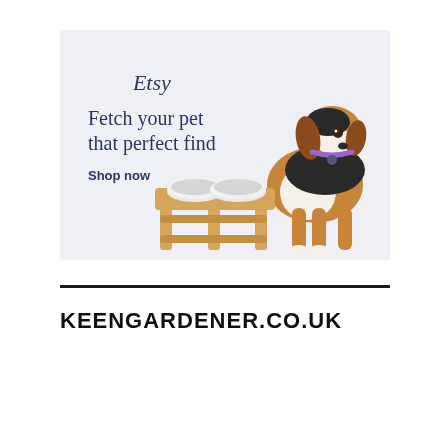[Figure (illustration): Etsy advertisement banner with a beagle dog sitting next to wooden pet bowl stand on a light grey/blue background. Text reads 'Etsy', 'Fetch your pet that perfect find', 'Shop now'.]
KEENGARDENER.CO.UK